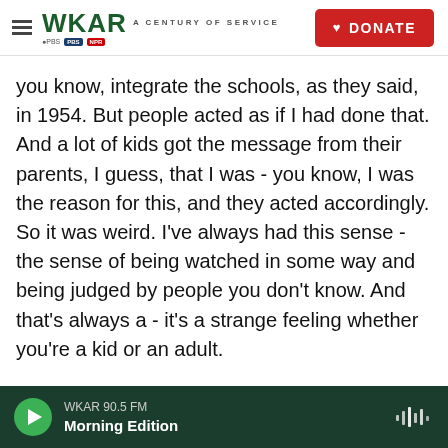WKAR — A CENTURY OF SERVICE | DONATE
you know, integrate the schools, as they said, in 1954. But people acted as if I had done that. And a lot of kids got the message from their parents, I guess, that I was - you know, I was the reason for this, and they acted accordingly. So it was weird. I've always had this sense - the sense of being watched in some way and being judged by people you don't know. And that's always a - it's a strange feeling whether you're a kid or an adult.
GROSS: How did the end of the Freedom of Choice Plan and the beginning of the integration of schools in your community affect your actual schooling and
WKAR 90.5 FM — Morning Edition